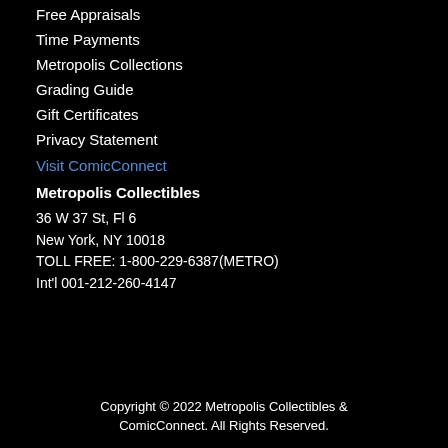Free Appraisals
Time Payments
Metropolis Collections
Grading Guide
Gift Certificates
Privacy Statement
Visit ComicConnect
Metropolis Collectibles
36 W 37 St, Fl 6
New York, NY 10018
TOLL FREE: 1-800-229-6387(METRO)
Int'l 001-212-260-4147
Copyright © 2022 Metropolis Collectibles & ComicConnect. All Rights Reserved.